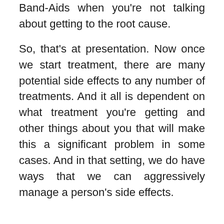Band-Aids when you're not talking about getting to the root cause.
So, that's at presentation. Now once we start treatment, there are many potential side effects to any number of treatments. And it all is dependent on what treatment you're getting and other things about you that will make this a significant problem in some cases. And in that setting, we do have ways that we can aggressively manage a person's side effects.
Ross:
Can you manage all of the symptoms? Or can